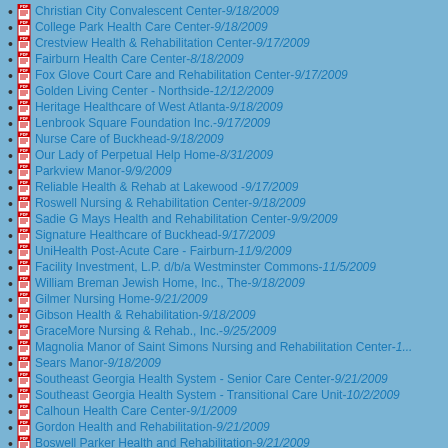Christian City Convalescent Center-9/18/2009
College Park Health Care Center-9/18/2009
Crestview Health & Rehabilitation Center-9/17/2009
Fairburn Health Care Center-8/18/2009
Fox Glove Court Care and Rehabilitation Center-9/17/2009
Golden Living Center - Northside-12/12/2009
Heritage Healthcare of West Atlanta-9/18/2009
Lenbrook Square Foundation Inc.-9/17/2009
Nurse Care of Buckhead-9/18/2009
Our Lady of Perpetual Help Home-8/31/2009
Parkview Manor-9/9/2009
Reliable Health & Rehab at Lakewood -9/17/2009
Roswell Nursing & Rehabilitation Center-9/18/2009
Sadie G Mays Health and Rehabilitation Center-9/9/2009
Signature Healthcare of Buckhead-9/17/2009
UniHealth Post-Acute Care - Fairburn-11/9/2009
Facility Investment, L.P. d/b/a Westminster Commons-11/5/2009
William Breman Jewish Home, Inc., The-9/18/2009
Gilmer Nursing Home-9/21/2009
Gibson Health & Rehabilitation-9/18/2009
GraceMore Nursing & Rehab., Inc.-9/25/2009
Magnolia Manor of Saint Simons Nursing and Rehabilitation Center-1...
Sears Manor-9/18/2009
Southeast Georgia Health System - Senior Care Center-9/21/2009
Southeast Georgia Health System - Transitional Care Unit-10/2/2009
Calhoun Health Care Center-9/1/2009
Gordon Health and Rehabilitation-9/21/2009
Boswell Parker Health and Rehabilitation-9/21/2009